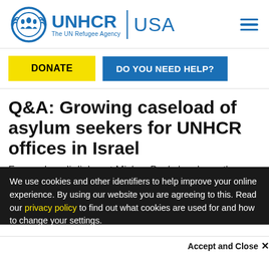[Figure (logo): UNHCR USA logo with UN Refugee Agency text and globe emblem]
DONATE
DO YOU NEED HELP?
Q&A: Growing caseload of asylum seekers for UNHCR offices in Israel
Former Israeli diplomat Mickey Bavly has been the
We use cookies and other identifiers to help improve your online experience. By using our website you are agreeing to this. Read our privacy policy to find out what cookies are used for and how to change your settings.
Accept and Close ✕
Your browser settings do not allow cross-site tracking for advertising. Click on this page to allow AdRoll to use cross-site tracking to tailor ads to you. Learn more or opt out of this AdRoll tracking by clicking here. This message only appears once.